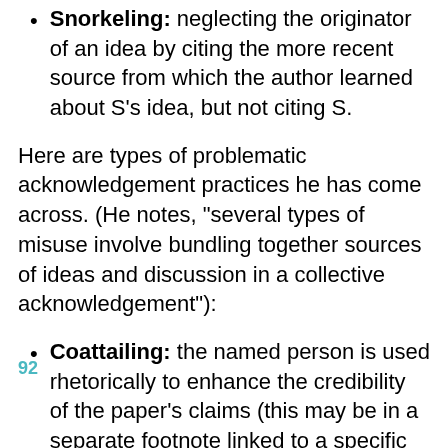Snorkeling: neglecting the originator of an idea by citing the more recent source from which the author learned about S’s idea, but not citing S.
Here are types of problematic acknowledgement practices he has come across. (He notes, “several types of misuse involve bundling together sources of ideas and discussion in a collective acknowledgement”):
Coattailing: the named person is used rhetorically to enhance the credibility of the paper’s claims (this may be in a separate footnote linked to a specific
92